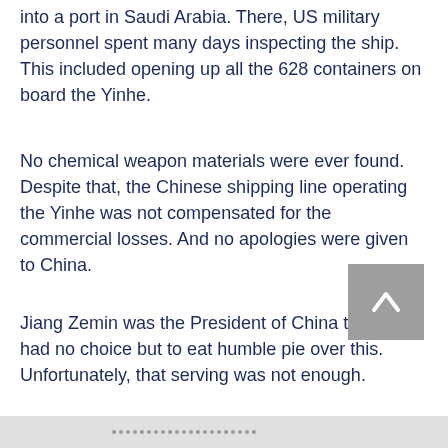into a port in Saudi Arabia. There, US military personnel spent many days inspecting the ship. This included opening up all the 628 containers on board the Yinhe.
No chemical weapon materials were ever found. Despite that, the Chinese shipping line operating the Yinhe was not compensated for the commercial losses. And no apologies were given to China.
Jiang Zemin was the President of China then. He had no choice but to eat humble pie over this. Unfortunately, that serving was not enough.
A few years later in early 1996, Jiang Zemin had another serving of this American humble pie. It was during the Third Taiwan Strait Crisis, when both sides routinely fired missiles at each other as a show of strength.